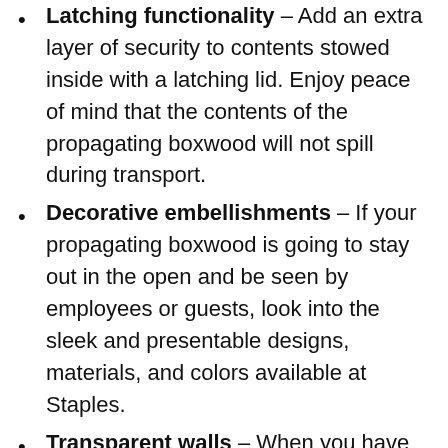Latching functionality – Add an extra layer of security to contents stowed inside with a latching lid. Enjoy peace of mind that the contents of the propagating boxwood will not spill during transport.
Decorative embellishments – If your propagating boxwood is going to stay out in the open and be seen by employees or guests, look into the sleek and presentable designs, materials, and colors available at Staples.
Transparent walls – When you have many identical propagating boxwood in close proximity and need to see the contents inside, look for boxes with transparent walls. The clear plastic